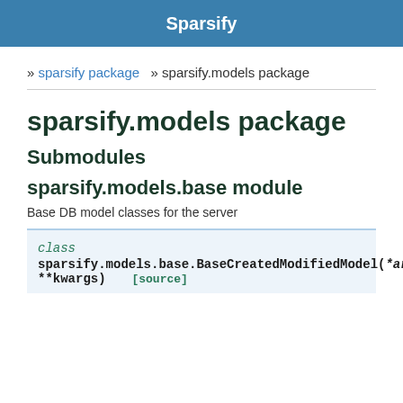Sparsify
» sparsify package  » sparsify.models package
sparsify.models package
Submodules
sparsify.models.base module
Base DB model classes for the server
class sparsify.models.base.BaseCreatedModifiedModel(*args, **kwargs) [source]